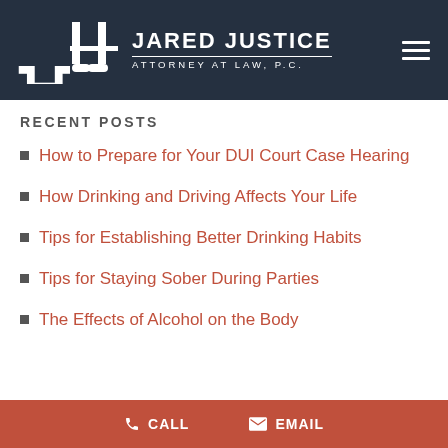JARED JUSTICE ATTORNEY AT LAW, P.C.
RECENT POSTS
How to Prepare for Your DUI Court Case Hearing
How Drinking and Driving Affects Your Life
Tips for Establishing Better Drinking Habits
Tips for Staying Sober During Parties
The Effects of Alcohol on the Body
CALL   EMAIL